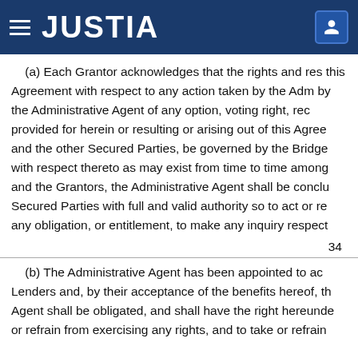JUSTIA
(a) Each Grantor acknowledges that the rights and res this Agreement with respect to any action taken by the Adm by the Administrative Agent of any option, voting right, rec provided for herein or resulting or arising out of this Agree and the other Secured Parties, be governed by the Bridge with respect thereto as may exist from time to time among and the Grantors, the Administrative Agent shall be conclu Secured Parties with full and valid authority so to act or re any obligation, or entitlement, to make any inquiry respect
34
(b) The Administrative Agent has been appointed to ac Lenders and, by their acceptance of the benefits hereof, th Agent shall be obligated, and shall have the right hereunde or refrain from exercising any rights, and to take or refrain